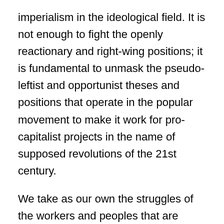imperialism in the ideological field. It is not enough to fight the openly reactionary and right-wing positions; it is fundamental to unmask the pseudo-leftist and opportunist theses and positions that operate in the popular movement to make it work for pro-capitalist projects in the name of supposed revolutions of the 21st century.
We take as our own the struggles of the workers and peoples that are developing in whatever part of the world, therefore we are in solidarity with them all. In particular, we raise our voices and our fists with indignation against the genocide being carried out by the Zionist state of Israel with Yankee support against the Palestinian people: our solidarity with the heroic struggle of the Palestinian people to regain their territory and their right to self-determination. Our voices of support go out to the Venezuelan people